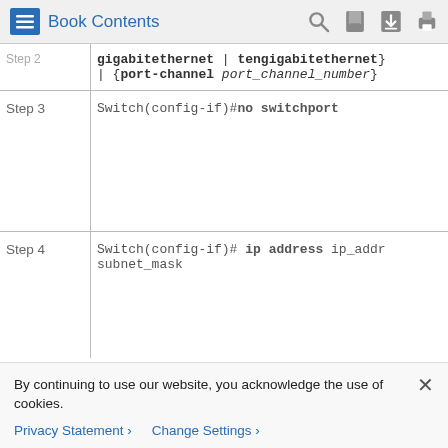Book Contents
| Step | Command |
| --- | --- |
| Step 2 (partial) | gigabitethernet | tengigabitethernet} | {port-channel port_channel_number} |
| Step 3 | Switch(config-if)#no switchport |
| Step 4 | Switch(config-if)# ip address ip_addr subnet_mask |
| — | Switch(config-if)# no shutdown |
By continuing to use our website, you acknowledge the use of cookies.
Privacy Statement > Change Settings >